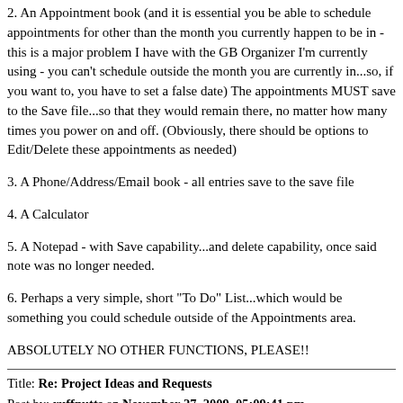2. An Appointment book (and it is essential you be able to schedule appointments for other than the month you currently happen to be in - this is a major problem I have with the GB Organizer I'm currently using - you can't schedule outside the month you are currently in...so, if you want to, you have to set a false date) The appointments MUST save to the Save file...so that they would remain there, no matter how many times you power on and off. (Obviously, there should be options to Edit/Delete these appointments as needed)
3. A Phone/Address/Email book - all entries save to the save file
4. A Calculator
5. A Notepad - with Save capability...and delete capability, once said note was no longer needed.
6. Perhaps a very simple, short "To Do" List...which would be something you could schedule outside of the Appointments area.
ABSOLUTELY NO OTHER FUNCTIONS, PLEASE!!
Title: Re: Project Ideas and Requests
Post by: ruffnutts on November 27, 2009, 05:09:41 pm
I would like to see N-Gage 2.0 running on the dingoo - just seen I wicked MGS game on youtube.......